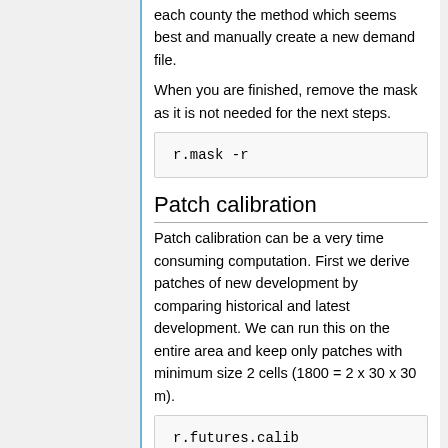each county the method which seems best and manually create a new demand file.
When you are finished, remove the mask as it is not needed for the next steps.
r.mask -r
Patch calibration
Patch calibration can be a very time consuming computation. First we derive patches of new development by comparing historical and latest development. We can run this on the entire area and keep only patches with minimum size 2 cells (1800 = 2 x 30 x 30 m).
r.futures.calib